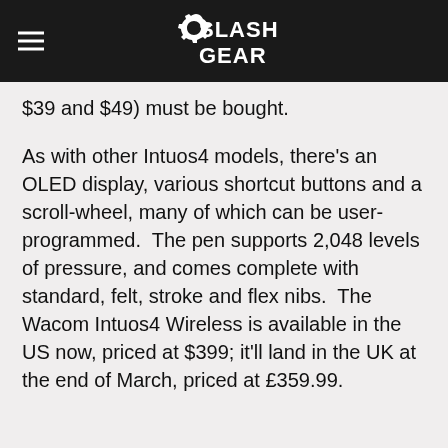SlashGear
$39 and $49) must be bought.
As with other Intuos4 models, there's an OLED display, various shortcut buttons and a scroll-wheel, many of which can be user-programmed.  The pen supports 2,048 levels of pressure, and comes complete with standard, felt, stroke and flex nibs.  The Wacom Intuos4 Wireless is available in the US now, priced at $399; it'll land in the UK at the end of March, priced at £359.99.